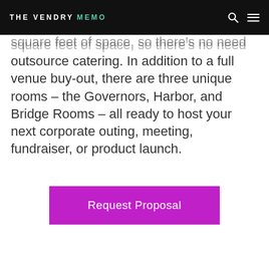THE VENDRY MEMO
square feet of space, so there's no need to outsource catering. In addition to a full venue buy-out, there are three unique rooms – the Governors, Harbor, and Bridge Rooms – all ready to host your next corporate outing, meeting, fundraiser, or product launch.
Request Proposal